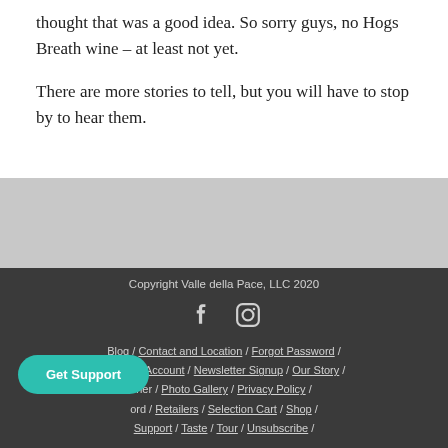thought that was a good idea. So sorry guys, no Hogs Breath wine – at least not yet.
There are more stories to tell, but you will have to stop by to hear them.
Copyright Valle della Pace, LLC 2020
Blog / Contact and Location / Forgot Password / Manage Account / Newsletter Signup / Our Story / [Owner] / Photo Gallery / Privacy Policy / [Password] / Retailers / Selection Cart / Shop / Support / Taste / Tour / Unsubscribe /